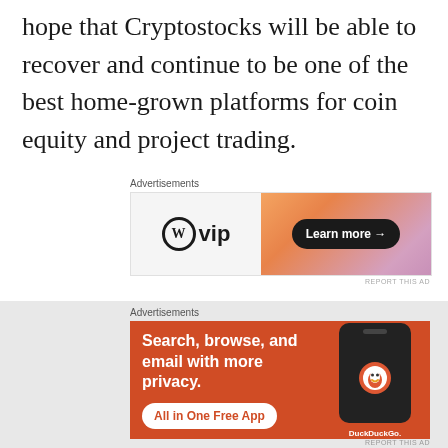hope that Cryptostocks will be able to recover and continue to be one of the best home-grown platforms for coin equity and project trading.
[Figure (other): WordPress VIP advertisement banner with 'Learn more →' button on an orange-pink gradient background]
[Figure (other): DuckDuckGo advertisement banner with text 'Search, browse, and email with more privacy. All in One Free App' and phone image on orange background]